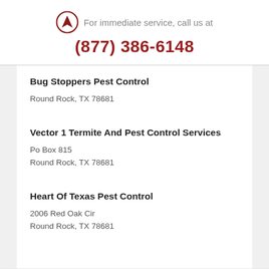For immediate service, call us at
(877) 386-6148
Bug Stoppers Pest Control
Round Rock, TX 78681
Vector 1 Termite And Pest Control Services
Po Box 815
Round Rock, TX 78681
Heart Of Texas Pest Control
2006 Red Oak Cir
Round Rock, TX 78681